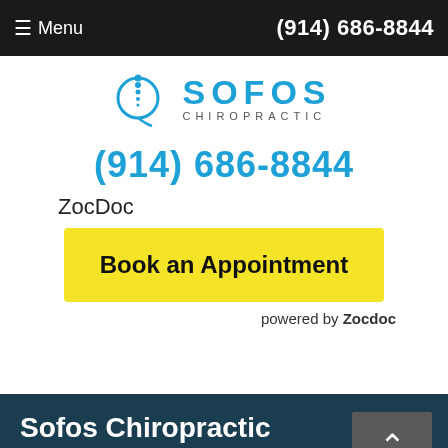≡ Menu  (914) 686-8844
[Figure (logo): Sofos Chiropractic logo with circular spine graphic and text SOFOS CHIROPRACTIC]
(914) 686-8844
ZocDoc
Book an Appointment
powered by Zocdoc
Sofos Chiropractic
Address
235 Mamaroneck Ave #105
White Plains, NY 10605, US